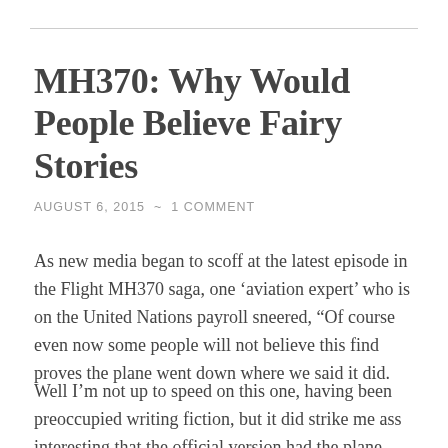MH370: Why Would People Believe Fairy Stories
AUGUST 6, 2015  ~  1 COMMENT
As new media began to scoff at the latest episode in the Flight MH370 saga, one ‘aviation expert’ who is on the United Nations payroll sneered, “Of course even now some people will not believe this find proves the plane went down where we said it did.
Well I’m not up to speed on this one, having been preoccupied writing fiction, but it did strike me ass interesting that the official version had the plane